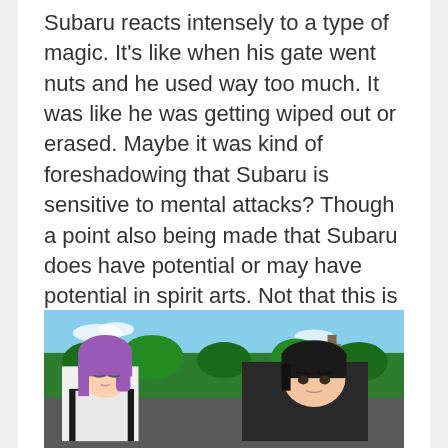Subaru reacts intensely to a type of magic. It's like when his gate went nuts and he used way too much. It was like he was getting wiped out or erased. Maybe it was kind of foreshadowing that Subaru is sensitive to mental attacks? Though a point also being made that Subaru does have potential or may have potential in spirit arts. Not that this is something he can pick up overnight and the series probably won't give him a year or two without some major attack so he can improve himself.
[Figure (photo): Anime screenshot showing a purple-haired character on the left and a dark-haired character on the right, with trees and sky in the background.]